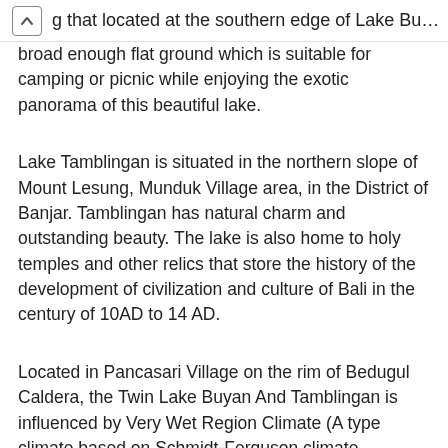g that located at the southern edge of Lake Buyan.
broad enough flat ground which is suitable for camping or picnic while enjoying the exotic panorama of this beautiful lake.
Lake Tamblingan is situated in the northern slope of Mount Lesung, Munduk Village area, in the District of Banjar. Tamblingan has natural charm and outstanding beauty. The lake is also home to holy temples and other relics that store the history of the development of civilization and culture of Bali in the century of 10AD to 14 AD.
Located in Pancasari Village on the rim of Bedugul Caldera, the Twin Lake Buyan And Tamblingan is influenced by Very Wet Region Climate (A type climate based on Schmidt-Ferguson climate classification maps) and the cool climate due to its location at an altitude of nearly 1.220 meters (4.000 ft) above sea level. Very Wet Region climate in this area has humid season start from October continues until June (9 months). Even though there's no rain, fog always blanketed this beautiful lake.